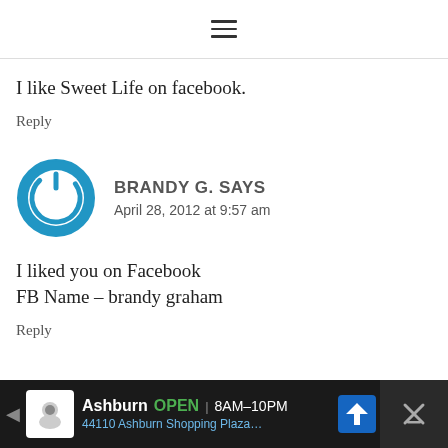≡
I like Sweet Life on facebook.
Reply
BRANDY G. SAYS
April 28, 2012 at 9:57 am
I liked you on Facebook
FB Name – brandy graham
Reply
[Figure (infographic): Advertisement banner: Ashburn OPEN 8AM-10PM, 44110 Ashburn Shopping Plaza...]